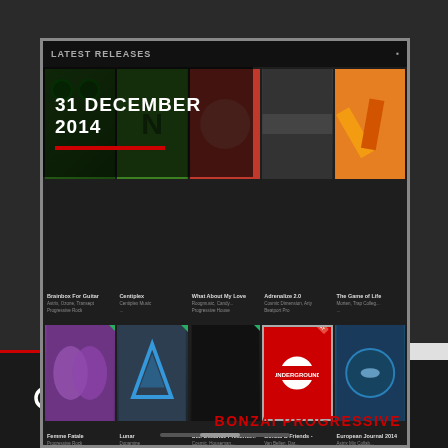[Figure (screenshot): Screenshot of a music release website showing 'LATEST RELEASES' with album covers in a grid layout. Shows releases dated 31 DECEMBER 2014 with multiple album artworks and text labels including 'Bonzai & Friends - Van Bellen, Dar...' and 'UNDERGROUND' text visible on one album.]
31 DECEMBER 2014
BONZAI PROGRESSIVE